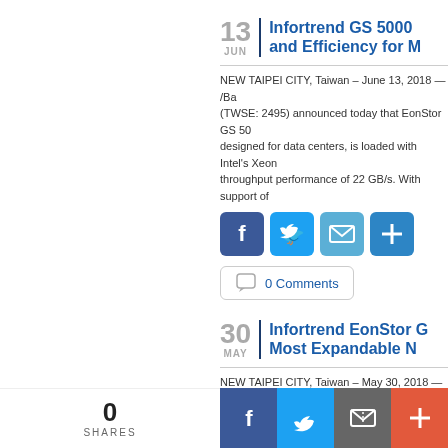13 JUN | Infortrend GS 5000 and Efficiency for M...
NEW TAIPEI CITY, Taiwan – June 13, 2018 — /Ba... (TWSE: 2495) announced today that EonStor GS 50... designed for data centers, is loaded with Intel's Xeon... throughput performance of 22 GB/s. With support of...
[Figure (infographic): Social share buttons: Facebook, Twitter, Email, Plus]
0 Comments
30 MAY | Infortrend EonStor G... Most Expandable N...
NEW TAIPEI CITY, Taiwan – May 30, 2018 — /Ba... (TWSE: 2495) announced today that the EonStor GS...
[Figure (infographic): Bottom share bar: 0 SHARES, Facebook, Twitter, Email, Plus]